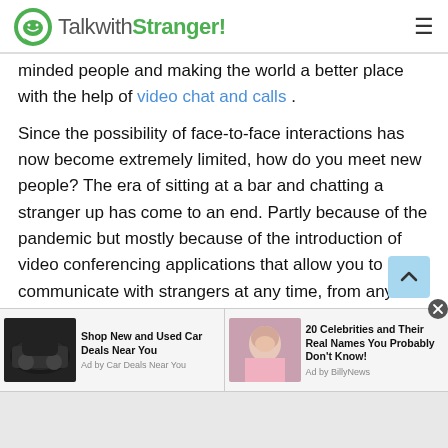TalkwithStranger!
minded people and making the world a better place with the help of video chat and calls .
Since the possibility of face-to-face interactions has now become extremely limited, how do you meet new people? The era of sitting at a bar and chatting a stranger up has come to an end. Partly because of the pandemic but mostly because of the introduction of video conferencing applications that allow you to communicate with strangers at any time, from any place. So if you are in search of a reliable platform for Filipino girls to chat, then you are in the right place! Take a look at why you should
[Figure (screenshot): Advertisement banner with two ad items: 1) Car image with text 'Shop New and Used Car Deals Near You' Ad by Car Deals Near You. 2) Celebrity photo with text '20 Celebrities and Their Real Names You Probably Don't Know!' Ad by BillyNews. Close button on right.]